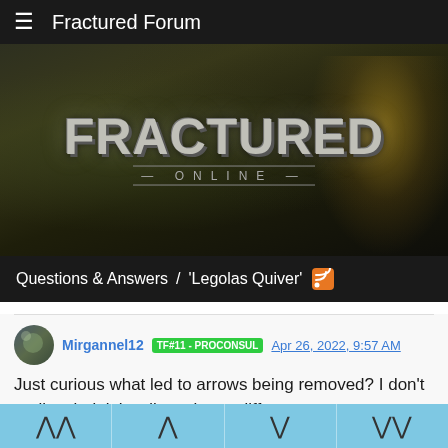Fractured Forum
[Figure (illustration): Fractured Online game banner with dark fantasy background, large stylized 'FRACTURED ONLINE' logo text, and a warrior character on the right side]
Questions & Answers  /  'Legolas Quiver'
Mirgannel12  TF#11 - PROCONSUL  Apr 26, 2022, 9:57 AM
Just curious what led to arrows being removed? I don't really mind, it hardly makes a difference, arrows were so easy to make, I just feel silly pulling arrows out of thin air